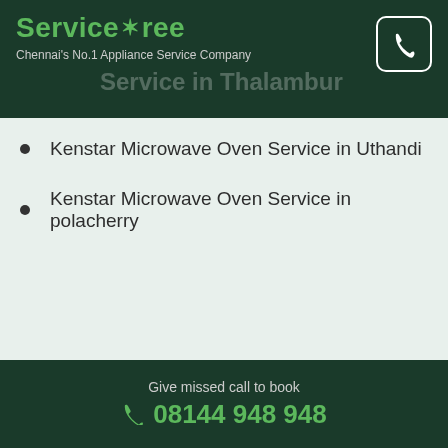ServiceTree - Chennai's No.1 Appliance Service Company
Kenstar Microwave Oven Service in Uthandi
Kenstar Microwave Oven Service in polacherry
Pay online
[Figure (infographic): Three payment method icons: credit card, bank/institution building, and wallet]
Give missed call to book 08144 948 948